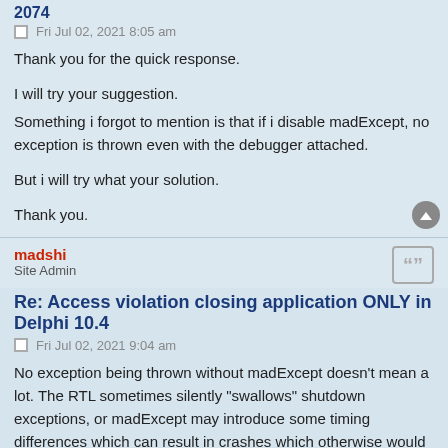2074
Fri Jul 02, 2021 8:05 am
Thank you for the quick response.

I will try your suggestion.
Something i forgot to mention is that if i disable madExcept, no exception is thrown even with the debugger attached.

But i will try what your solution.

Thank you.
madshi
Site Admin
Re: Access violation closing application ONLY in Delphi 10.4
Fri Jul 02, 2021 9:04 am
No exception being thrown without madExcept doesn't mean a lot. The RTL sometimes silently "swallows" shutdown exceptions, or madExcept may introduce some timing differences which can result in crashes which otherwise would not occur (without being madExcept's fault). But of course it's not impossible that there's a bug in madExcept. It's just pretty rare, these days, because the madExcept core has been stable for years